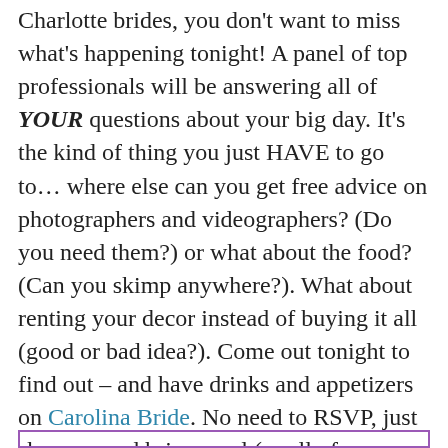Charlotte brides, you don't want to miss what's happening tonight! A panel of top professionals will be answering all of YOUR questions about your big day. It's the kind of thing you just HAVE to go to… where else can you get free advice on photographers and videographers? (Do you need them?) or what about the food? (Can you skimp anywhere?). What about renting your decor instead of buying it all (good or bad idea?). Come out tonight to find out – and have drinks and appetizers on Carolina Bride. No need to RSVP, just show up and bring a pal (or all of your bridesmaids!) if you'd like. It's sure to be a good time!